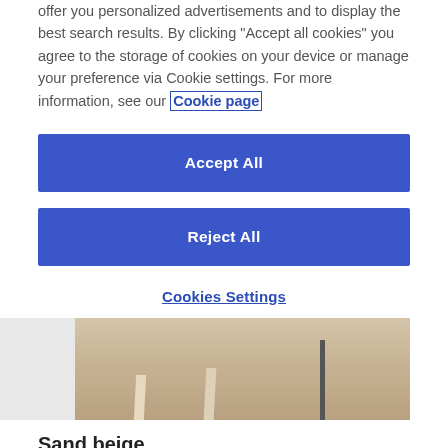offer you personalized advertisements and to display the best search results. By clicking "Accept all cookies" you agree to the storage of cookies on your device or manage your preference via Cookie settings. For more information, see our Cookie page
Accept All
Reject All
Cookies Settings
[Figure (photo): Photo of light wood flooring with furniture legs and a dark stand/tripod visible]
Sand beige
A serene, sandy shade. Sand beige is a contemporary colour